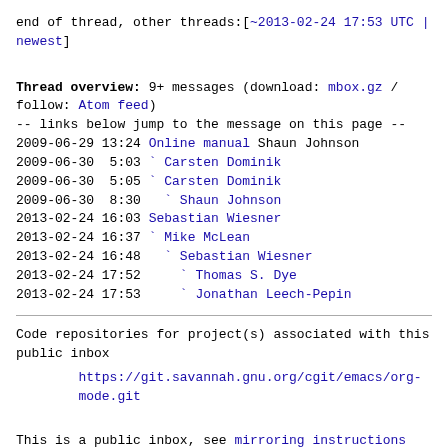end of thread, other threads:[~2013-02-24 17:53 UTC | newest]
Thread overview: 9+ messages (download: mbox.gz / follow: Atom feed)
-- links below jump to the message on this page --
2009-06-29 13:24 Online manual Shaun Johnson
2009-06-30  5:03 ` Carsten Dominik
2009-06-30  5:05 ` Carsten Dominik
2009-06-30  8:30   ` Shaun Johnson
2013-02-24 16:03 Sebastian Wiesner
2013-02-24 16:37 ` Mike McLean
2013-02-24 16:48   ` Sebastian Wiesner
2013-02-24 17:52     ` Thomas S. Dye
2013-02-24 17:53     ` Jonathan Leech-Pepin
Code repositories for project(s) associated with this public inbox
https://git.savannah.gnu.org/cgit/emacs/org-mode.git
This is a public inbox, see mirroring instructions for how to clone and mirror all data and code used for this inbox;
as well as URLs for read-only IMAP folder(s) and NNTP newsgroup(s).